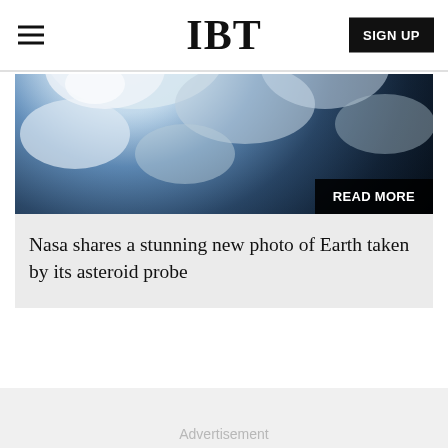IBT
[Figure (photo): Satellite photo of Earth viewed from space, showing blue oceans, white clouds, and dark background. A black 'READ MORE' badge overlays the bottom-right corner.]
Nasa shares a stunning new photo of Earth taken by its asteroid probe
Advertisement